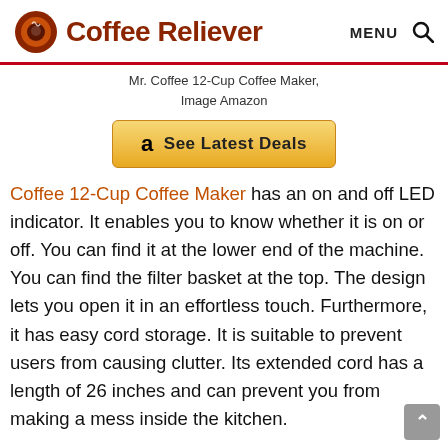Coffee Reliever — MENU (search icon)
Mr. Coffee 12-Cup Coffee Maker,
Image Amazon
[Figure (other): Amazon affiliate button: See Latest Deals]
Coffee 12-Cup Coffee Maker has an on and off LED indicator. It enables you to know whether it is on or off. You can find it at the lower end of the machine. You can find the filter basket at the top. The design lets you open it in an effortless touch. Furthermore, it has easy cord storage. It is suitable to prevent users from causing clutter. Its extended cord has a length of 26 inches and can prevent you from making a mess inside the kitchen.